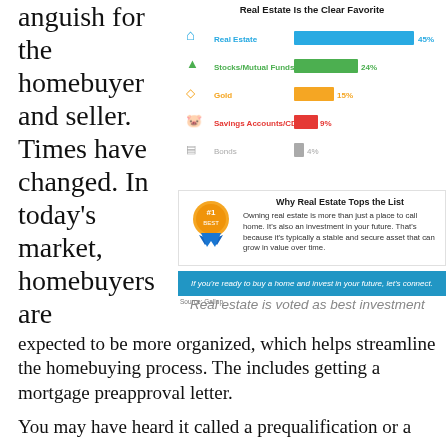anguish for the homebuyer and seller. Times have changed. In today's market, homebuyers are
[Figure (bar-chart): Real Estate Is the Clear Favorite]
[Figure (infographic): Why Real Estate Tops the List - #1 ribbon badge with text: Owning real estate is more than just a place to call home. It's also an investment in your future. That's because it's typically a stable and secure asset that can grow in value over time.]
If you're ready to buy a home and invest in your future, let's connect.
Source: Gallup
Real estate is voted as best investment
expected to be more organized, which helps streamline the homebuying process. The includes getting a mortgage preapproval letter.
You may have heard it called a prequalification or a